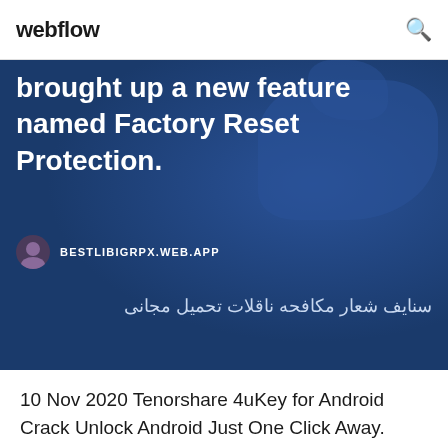webflow
brought up a new feature named Factory Reset Protection.
BESTLIBIGRPX.WEB.APP
سنایف شعار مکافحه ناقلات تحمیل مجانی
10 Nov 2020 Tenorshare 4uKey for Android Crack Unlock Android Just One Click Away. Remove Android Also Download: Tenorshare 4uKey iTunes